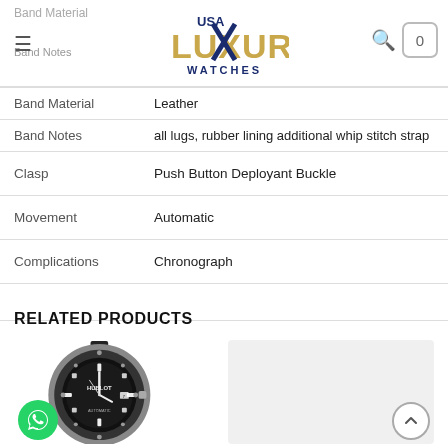USA Luxury Watches — navigation header with hamburger menu, logo, search icon, and cart badge showing 0
| Property | Value |
| --- | --- |
| Band Material | Leather |
| Band Notes | all lugs, rubber lining additional whip stitch strap |
| Clasp | Push Button Deployant Buckle |
| Movement | Automatic |
| Complications | Chronograph |
RELATED PRODUCTS
[Figure (photo): Hublot Classic Fusion watch with black dial, titanium case, rubber strap, and WhatsApp contact button overlay]
[Figure (photo): Second related product watch image (partially visible, light grey background)]